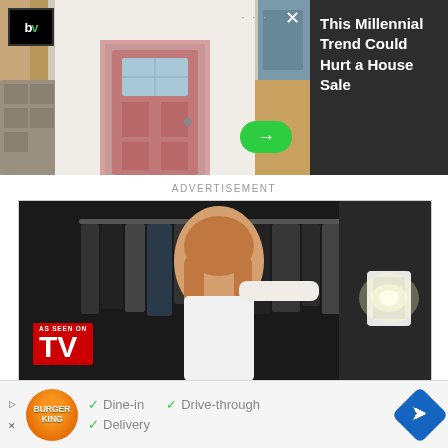[Figure (screenshot): Advertisement banner showing a house with a pink door and the text 'This Millennial Trend Could Hurt a House Sale' with a BV logo and green arrow button]
ADVERTISEMENT
[Figure (photo): Advertisement image showing a woman browsing clothes in a closet with an 'As Seen On TV' badge]
[Figure (screenshot): Burger King advertisement showing logo with options: Dine-in, Drive-through, Delivery with checkmarks and navigation icon]